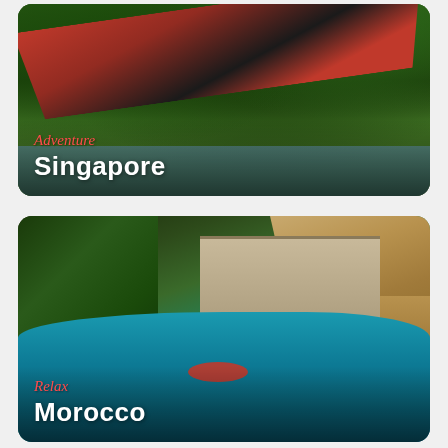[Figure (photo): Aerial/close-up photo of a person in a red and black hammock surrounded by lush green forest trees with a water reflection visible. Overlay text shows script 'Adventure' in red and bold 'Singapore' in white.]
[Figure (photo): Aerial drone photo of a tropical resort pool with a person in a red swimsuit floating in a turquoise pool, surrounded by lush greenery on the left and thatched-roof villa structures on the right. Overlay text shows script 'Relax' in red and bold 'Morocco' in white.]